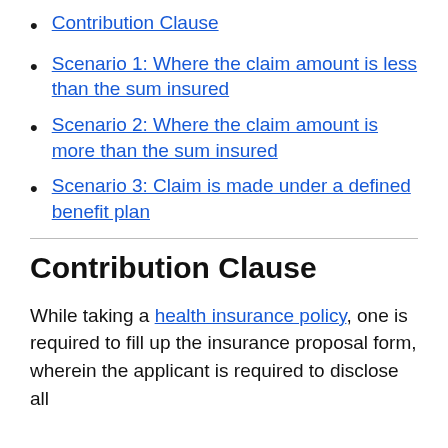Contribution Clause
Scenario 1: Where the claim amount is less than the sum insured
Scenario 2: Where the claim amount is more than the sum insured
Scenario 3: Claim is made under a defined benefit plan
Contribution Clause
While taking a health insurance policy, one is required to fill up the insurance proposal form, wherein the applicant is required to disclose all